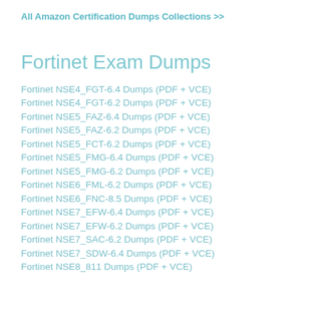All Amazon Certification Dumps Collections >>
Fortinet Exam Dumps
Fortinet NSE4_FGT-6.4 Dumps (PDF + VCE)
Fortinet NSE4_FGT-6.2 Dumps (PDF + VCE)
Fortinet NSE5_FAZ-6.4 Dumps (PDF + VCE)
Fortinet NSE5_FAZ-6.2 Dumps (PDF + VCE)
Fortinet NSE5_FCT-6.2 Dumps (PDF + VCE)
Fortinet NSE5_FMG-6.4 Dumps (PDF + VCE)
Fortinet NSE5_FMG-6.2 Dumps (PDF + VCE)
Fortinet NSE6_FML-6.2 Dumps (PDF + VCE)
Fortinet NSE6_FNC-8.5 Dumps (PDF + VCE)
Fortinet NSE7_EFW-6.4 Dumps (PDF + VCE)
Fortinet NSE7_EFW-6.2 Dumps (PDF + VCE)
Fortinet NSE7_SAC-6.2 Dumps (PDF + VCE)
Fortinet NSE7_SDW-6.4 Dumps (PDF + VCE)
Fortinet NSE8_811 Dumps (PDF + VCE)